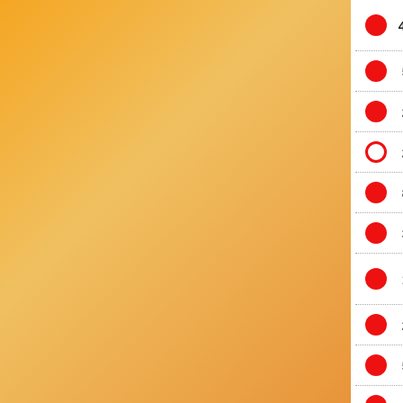48 Carlina acaulis subsp. caulescens Schübler & G.Martens, 1834
5 Carlina vulgaris L., 1753
2 Catananche caerulea L., 1753
2 Centaurea alpestris Hegetschw.,
8 Centaurea jacea L. subsp. jacea
3 Centaurea jacea L., 1753
1 Centaurea jacea subsp. timbalii Donos) Braun-Blanq., 1952
2 Centaurea scabiosa L. subsp. s
5 Centaurea scabiosa L., 1753
1 Centaurea solstitialis L., 1753
2 Centaurea uniflora subsp. nerve Bonnier & Layens, 1894
6 Centaurea uniflora Turra subsp.
8 Centaurea uniflora Turra, 1765